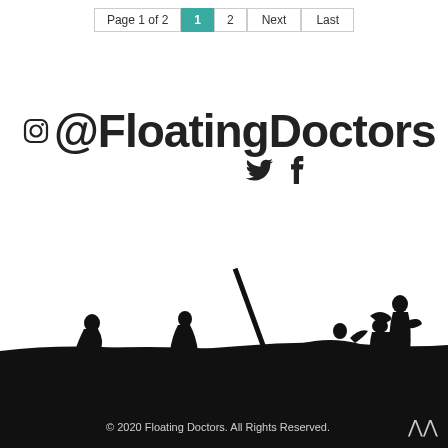Page 1 of 2  1  2  Next  Last
@FloatingDoctors
[Figure (illustration): Silhouette illustration of people sitting in a boat and on land against a white sky background, with a large black ground/water fill at bottom. Multiple human figures depicted in black silhouette.]
© 2020 Floating Doctors. All Rights Reserved.